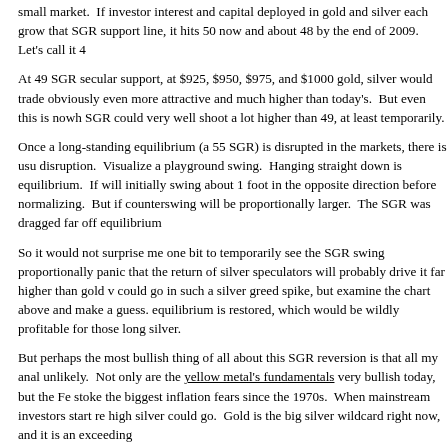small market.  If investor interest and capital deployed in gold and silver each grow that SGR support line, it hits 50 now and about 48 by the end of 2009.  Let's call it 4
At 49 SGR secular support, at $925, $950, $975, and $1000 gold, silver would trade obviously even more attractive and much higher than today's.  But even this is nowh SGR could very well shoot a lot higher than 49, at least temporarily.
Once a long-standing equilibrium (a 55 SGR) is disrupted in the markets, there is usu disruption.  Visualize a playground swing.  Hanging straight down is equilibrium.  If will initially swing about 1 foot in the opposite direction before normalizing.  But if counterswing will be proportionally larger.  The SGR was dragged far off equilibrium
So it would not surprise me one bit to temporarily see the SGR swing proportionally panic that the return of silver speculators will probably drive it far higher than gold v could go in such a silver greed spike, but examine the chart above and make a guess. equilibrium is restored, which would be wildly profitable for those long silver.
But perhaps the most bullish thing of all about this SGR reversion is that all my anal unlikely.  Not only are the yellow metal's fundamentals very bullish today, but the Fe stoke the biggest inflation fears since the 1970s.  When mainstream investors start re high silver could go.  Gold is the big silver wildcard right now, and it is an exceeding
While I own lots of physical silver, and am still trading the silver ETF, I believe the b elite silver stocks.  While silver was sold off far more aggressively than gold warrant more aggressively than the dismal silver prices warranted.  Silver stocks, still recove
Thus we could easily see a doubling to quadrupling of most great silver stocks' price course.  Add in the first inflation scare of the modern era, and the gains could be even